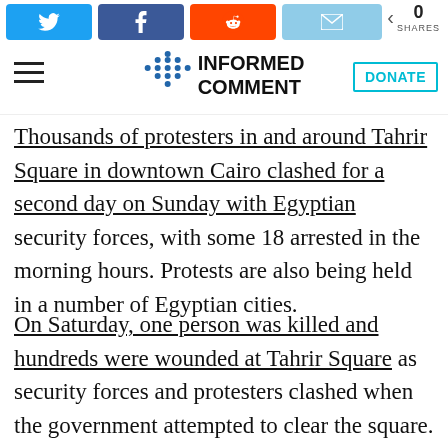INFORMED COMMENT — DONATE | 0 SHARES
Thousands of protesters in and around Tahrir Square in downtown Cairo clashed for a second day on Sunday with Egyptian security forces, with some 18 arrested in the morning hours. Protests are also being held in a number of Egyptian cities.
On Saturday, one person was killed and hundreds were wounded at Tahrir Square as security forces and protesters clashed when the government attempted to clear the square. Another protester was killed in Alexandria. Some Egyptians are saying that deposed dictator Hosni Mubarak has been